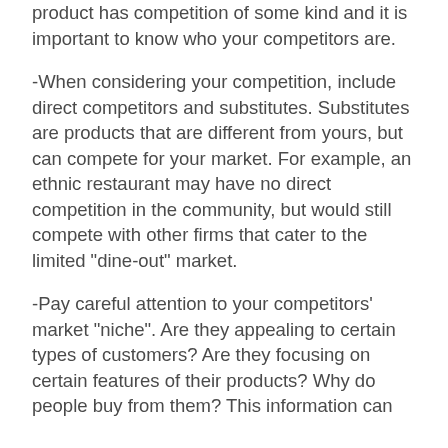product has competition of some kind and it is important to know who your competitors are.
-When considering your competition, include direct competitors and substitutes. Substitutes are products that are different from yours, but can compete for your market. For example, an ethnic restaurant may have no direct competition in the community, but would still compete with other firms that cater to the limited "dine-out" market.
-Pay careful attention to your competitors' market "niche". Are they appealing to certain types of customers? Are they focusing on certain features of their products? Why do people buy from them? This information can